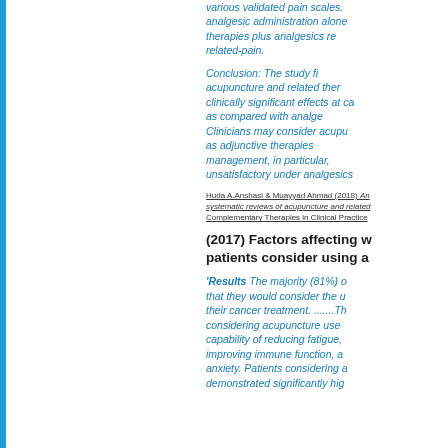various validated pain scales. analgesic administration alone therapies plus analgesics re related-pain.
Conclusion: The study fi acupuncture and related ther clinically significant effects at ca as compared with analge Clinicians may consider acupu as adjunctive therapies management, in particular, unsatisfactory under analgesics
Huda A.Anshasi & Muayyad Ahmad (2018) An systematic reviews of acupuncture and related Complementary Therapies in Clinical Practice
(2017) Factors affecting w patients consider using a
'Results The majority (81%) o that they would consider the u their cancer treatment. .......Th considering acupuncture use capability of reducing fatigue, improving immune function, a anxiety. Patients considering a demonstrated significantly hig